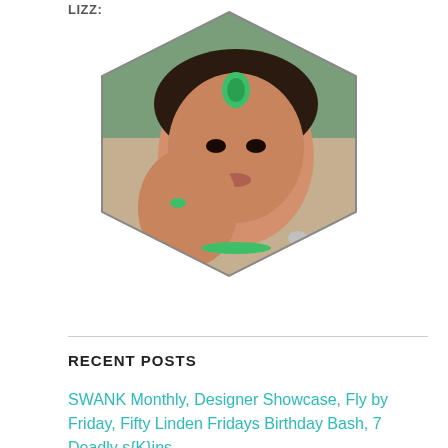LIZZ:
[Figure (illustration): Hexagon-shaped avatar image of a digital female character with dark hair, green jeweled headpiece and ring, tattoos, and jewelry against an outdoor background]
RECENT POSTS
SWANK Monthly, Designer Showcase, Fly by Friday, Fifty Linden Fridays Birthday Bash, 7 Deadly s{K}ins,